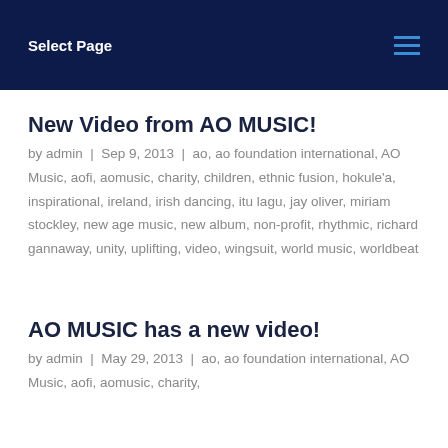Select Page
New Video from AO MUSIC!
by admin | Sep 9, 2013 | ao, ao foundation international, AO Music, aofi, aomusic, charity, children, ethnic fusion, hokule'a, inspirational, ireland, irish dancing, itu lagu, jay oliver, miriam stockley, new age music, new album, non-profit, rhythmic, richard gannaway, unity, uplifting, video, wingsuit, world music, worldbeat
AO MUSIC has a new video!
by admin | May 29, 2013 | ao, ao foundation international, AO Music, aofi, aomusic, charity,